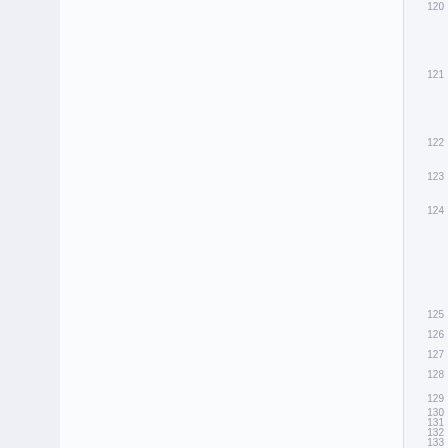120
121
122
123
124
125
126
127
128
129
130
131
132
133